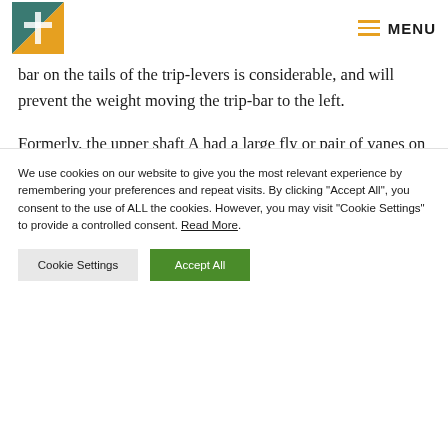MENU
bar on the tails of the trip-levers is considerable, and will prevent the weight moving the trip-bar to the left.
Formerly, the upper shaft A had a large fly or pair of vanes on it, to control the speed at which the weights turned the tune-barrel. A bulge in the left front of the wooden case
We use cookies on our website to give you the most relevant experience by remembering your preferences and repeat visits. By clicking "Accept All", you consent to the use of ALL the cookies. However, you may visit "Cookie Settings" to provide a controlled consent. Read More.